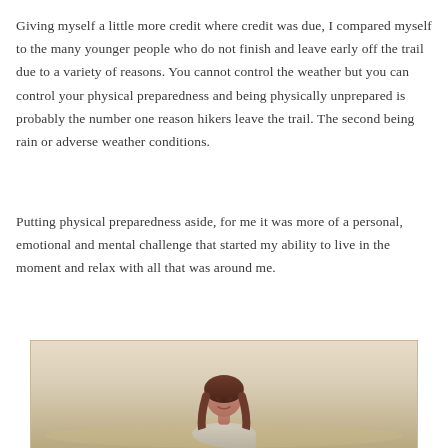Giving myself a little more credit where credit was due, I compared myself to the many younger people who do not finish and leave early off the trail due to a variety of reasons. You cannot control the weather but you can control your physical preparedness and being physically unprepared is probably the number one reason hikers leave the trail. The second being rain or adverse weather conditions.
Putting physical preparedness aside, for me it was more of a personal, emotional and mental challenge that started my ability to live in the moment and relax with all that was around me.
[Figure (photo): A photograph showing a person, partially visible at the bottom of the frame, with a light beige/sandy background suggesting an outdoor desert or trail environment.]